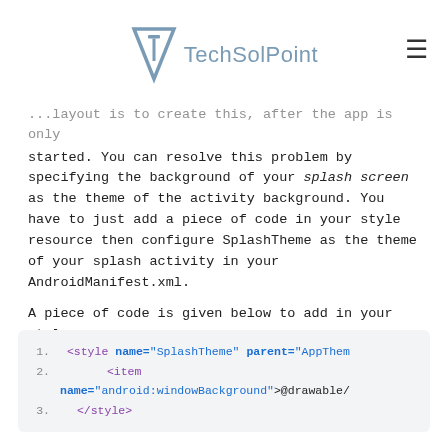TechSolPoint
...layout is to create this, after the app is only started. You can resolve this problem by specifying the background of your splash screen as the theme of the activity background. You have to just add a piece of code in your style resource then configure SplashTheme as the theme of your splash activity in your AndroidManifest.xml.
A piece of code is given below to add in your style resource:
[Figure (screenshot): Code block showing XML style definition with 3 lines: 1. <style name="SplashTheme" parent="AppTheme...  2. <item name="android:windowBackground">@drawable/...  3. </style>]